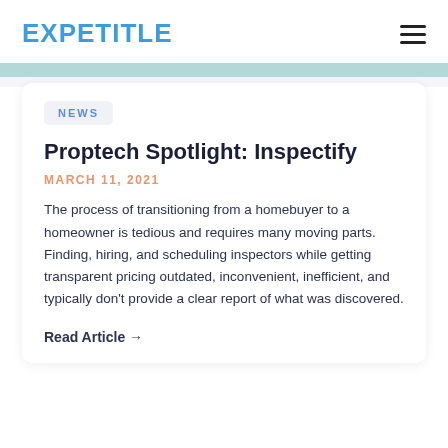EXPETITLE
NEWS
Proptech Spotlight: Inspectify
MARCH 11, 2021
The process of transitioning from a homebuyer to a homeowner is tedious and requires many moving parts. Finding, hiring, and scheduling inspectors while getting transparent pricing outdated, inconvenient, inefficient, and typically don't provide a clear report of what was discovered.
Read Article →